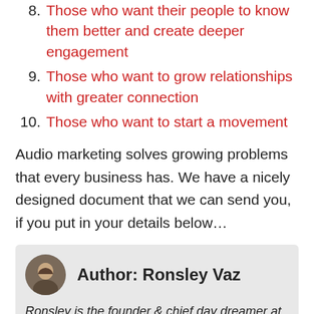8. Those who want their people to know them better and create deeper engagement
9. Those who want to grow relationships with greater connection
10. Those who want to start a movement
Audio marketing solves growing problems that every business has. We have a nicely designed document that we can send you, if you put in your details below…
Author: Ronsley Vaz
Ronsley is the founder & chief day dreamer at AMPLIFY. He is an author, speaker & serial entrepreneur.
He has a Masters' degree in Software Engineering and an MBA in Psychology